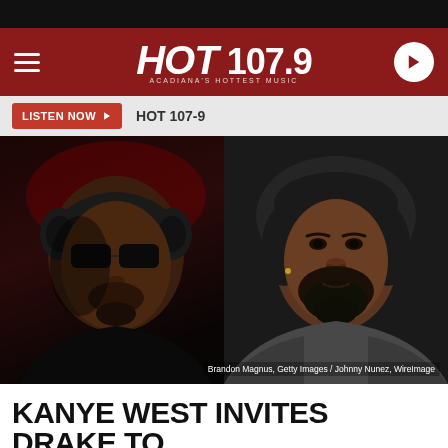[Figure (logo): HOT 107.9 radio station logo in white text on dark red/maroon header bar, with hamburger menu on left and play button on right]
LISTEN NOW ▶  HOT 107-9
[Figure (photo): Side-by-side photos of Kanye West (left, wearing large black headphones and dark sunglasses, dark background with red lighting) and Drake (right, showing his face with trimmed beard and fade haircut, wearing a gray jacket, dark background)]
Brandon Magnus, Getty Images / Johnny Nunez, WireImage
KANYE WEST INVITES DRAKE TO